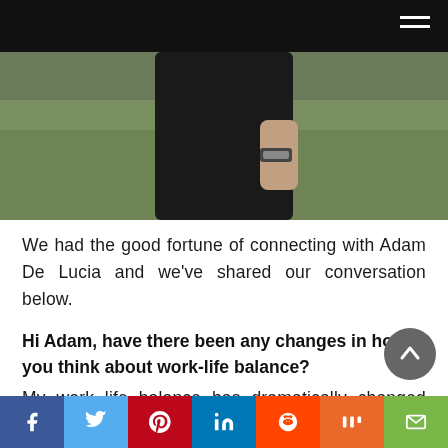[Figure (photo): Partial view of a person in black clothing standing on grass, with a navigation bar overlay at the top]
We had the good fortune of connecting with Adam De Lucia and we've shared our conversation below.
Hi Adam, have there been any changes in how you think about work-life balance?
My work life balance has dramatically changed over time especially being in the fitness business. A personal trainers daily day can consist of early AM clients, while working late with the right crowd as well. Needless to say,